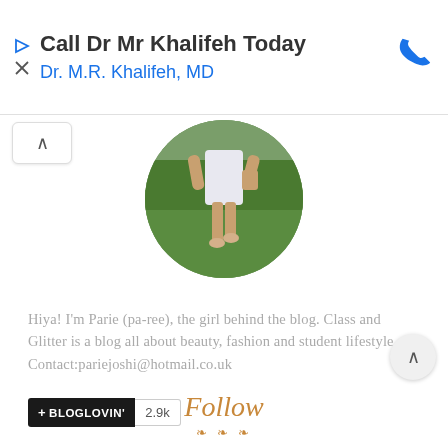[Figure (infographic): Advertisement banner for Dr. M.R. Khalifeh, MD with phone icon, play/close icons on left, and blue phone icon on right]
Call Dr Mr Khalifeh Today
Dr. M.R. Khalifeh, MD
[Figure (photo): Circular profile photo showing a person in a white dress walking on grass in a park]
Hiya! I'm Parie (pa-ree), the girl behind the blog. Class and Glitter is a blog all about beauty, fashion and student lifestyle. Contact:pariejoshi@hotmail.co.uk
[Figure (logo): Bloglovin follow badge with black background and +BLOGLOVIN' text, followed by 2.9k count]
Follow